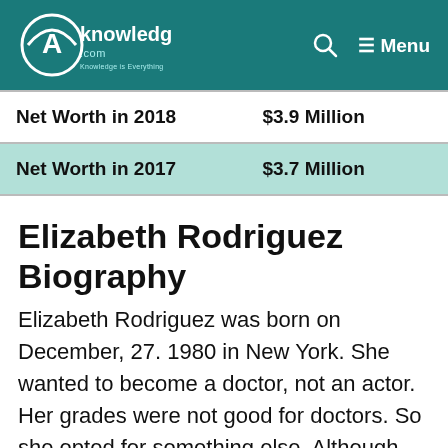AKnowledge.com — Menu
| Net Worth in 2018 | $3.9 Million |
| Net Worth in 2017 | $3.7 Million |
Elizabeth Rodriguez Biography
Elizabeth Rodriguez was born on December, 27. 1980 in New York. She wanted to become a doctor, not an actor. Her grades were not good for doctors. So she opted for something else. Although she was a successful clerk, she was not satisfied with